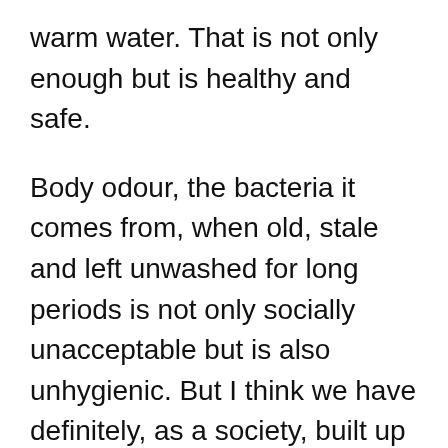warm water. That is not only enough but is healthy and safe.
Body odour, the bacteria it comes from, when old, stale and left unwashed for long periods is not only socially unacceptable but is also unhygienic. But I think we have definitely, as a society, built up an aversion to natural smells, to the degree where kids as young as 9 are seemingly encouraged by there parents to use unhealthy deodorants regularly and clean with perfumed soaps in their vaginas to stop all natural smells